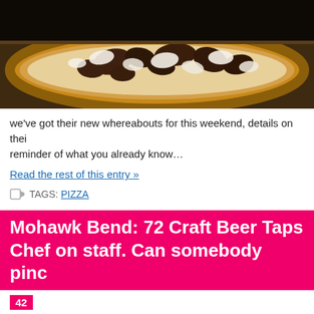[Figure (photo): Close-up photo of a flatbread pizza with mushrooms, cheese, and toppings on a baking pan against a dark background]
we've got their new whereabouts for this weekend, details on thei reminder of what you already know…
Read the rest of this entry »
TAGS: PIZZA
Mohawk Bend: 72 Craft Beer Taps Chef on staff. Can somebody pinc
42
JULY 19TH, 2011   QUARRYGIRL   LA RESTAURANTS, MOHAW